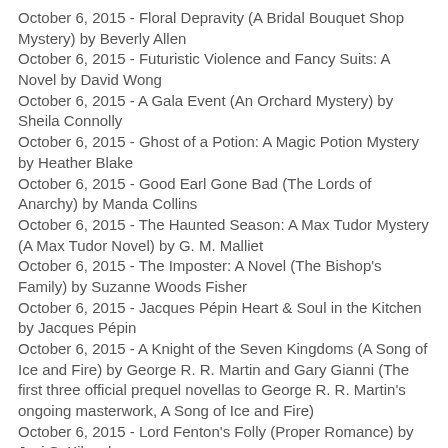October 6, 2015 - Floral Depravity (A Bridal Bouquet Shop Mystery) by Beverly Allen
October 6, 2015 - Futuristic Violence and Fancy Suits: A Novel by David Wong
October 6, 2015 - A Gala Event (An Orchard Mystery) by Sheila Connolly
October 6, 2015 - Ghost of a Potion: A Magic Potion Mystery by Heather Blake
October 6, 2015 - Good Earl Gone Bad (The Lords of Anarchy) by Manda Collins
October 6, 2015 - The Haunted Season: A Max Tudor Mystery (A Max Tudor Novel) by G. M. Malliet
October 6, 2015 - The Imposter: A Novel (The Bishop's Family) by Suzanne Woods Fisher
October 6, 2015 - Jacques Pépin Heart & Soul in the Kitchen by Jacques Pépin
October 6, 2015 - A Knight of the Seven Kingdoms (A Song of Ice and Fire) by George R. R. Martin and Gary Gianni (The first three official prequel novellas to George R. R. Martin's ongoing masterwork, A Song of Ice and Fire)
October 6, 2015 - Lord Fenton's Folly (Proper Romance) by Josi S. Kilpack